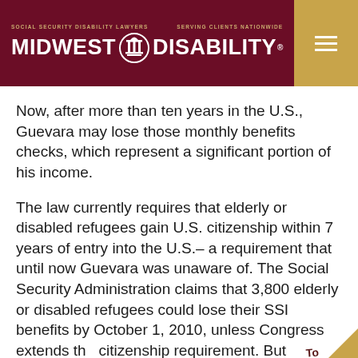MIDWEST DISABILITY® | SOCIAL SECURITY DISABILITY LAWYERS | SERVING CLIENTS NATIONWIDE
Now, after more than ten years in the U.S., Guevara may lose those monthly benefits checks, which represent a significant portion of his income.
The law currently requires that elderly or disabled refugees gain U.S. citizenship within 7 years of entry into the U.S.– a requirement that until now Guevara was unaware of. The Social Security Administration claims that 3,800 elderly or disabled refugees could lose their SSI benefits by October 1, 2010, unless Congress extends the citizenship requirement. But according to the Hebrew Immigrant Aid Society, 37,000 people could lose their benefits over a ten-year p…
[Figure (illustration): Page curl / torn corner effect in gold/tan color with text 'To Our Workers' Comp Page' on the bottom-right corner]